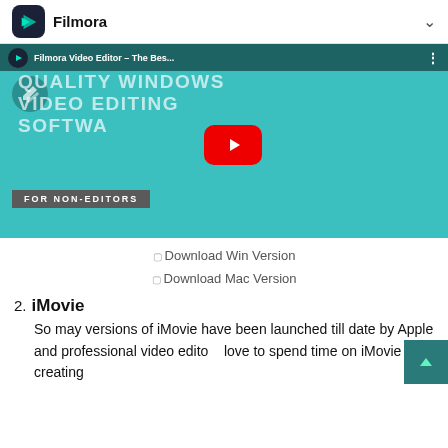Filmora
[Figure (screenshot): YouTube-style video thumbnail showing Filmora Video Editor promotional video titled 'Filmora Video Editor – The Bes...' with teal background, large white text 'QUALITY WINDOWS VIDEO EDITING SOFTWARE', gray banner 'FOR NON-EDITORS', and a red YouTube play button in the center.]
Download Win Version
Download Mac Version
2. iMovie
So may versions of iMovie have been launched till date by Apple and professional video editors love to spend time on iMovie for creating